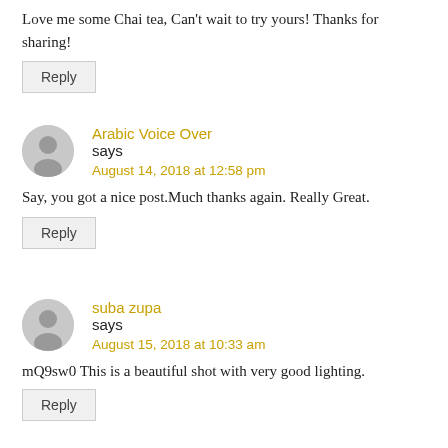Love me some Chai tea, Can't wait to try yours! Thanks for sharing!
Reply
Arabic Voice Over says
August 14, 2018 at 12:58 pm
Say, you got a nice post.Much thanks again. Really Great.
Reply
suba zupa says
August 15, 2018 at 10:33 am
mQ9sw0 This is a beautiful shot with very good lighting.